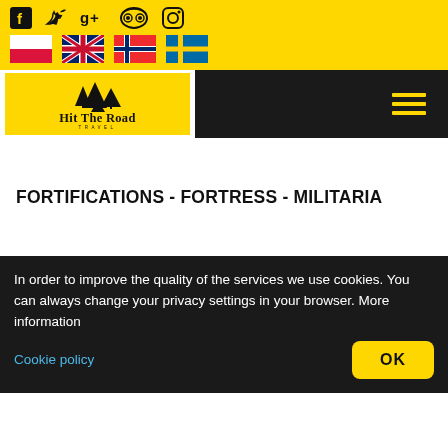[Figure (screenshot): Yellow top bar with social media icons (Facebook, Twitter, Google+, TripAdvisor, Instagram) and four country flags (Poland, UK, Norway, Sweden)]
[Figure (logo): Hit The Road Travel logo: yellow background with black mountain/tree silhouettes and road, text 'Hit The Road TRAVEL']
FORTIFICATIONS - FORTRESS - MILITARIA
In order to improve the quality of the services we use cookies. You can always change your privacy settings in your browser. More information
Cookie policy
OK